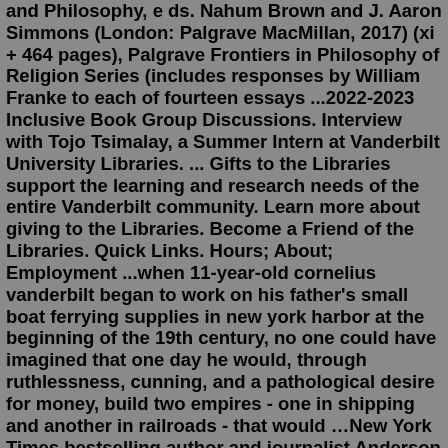and Philosophy, e ds. Nahum Brown and J. Aaron Simmons (London: Palgrave MacMillan, 2017) (xi + 464 pages), Palgrave Frontiers in Philosophy of Religion Series (includes responses by William Franke to each of fourteen essays ...2022-2023 Inclusive Book Group Discussions. Interview with Tojo Tsimalay, a Summer Intern at Vanderbilt University Libraries. ... Gifts to the Libraries support the learning and research needs of the entire Vanderbilt community. Learn more about giving to the Libraries. Become a Friend of the Libraries. Quick Links. Hours; About; Employment ...when 11-year-old cornelius vanderbilt began to work on his father's small boat ferrying supplies in new york harbor at the beginning of the 19th century, no one could have imagined that one day he would, through ruthlessness, cunning, and a pathological desire for money, build two empires - one in shipping and another in railroads - that would …New York Times bestselling author and journalist Anderson Cooper teams with New York Times bestselling historian and